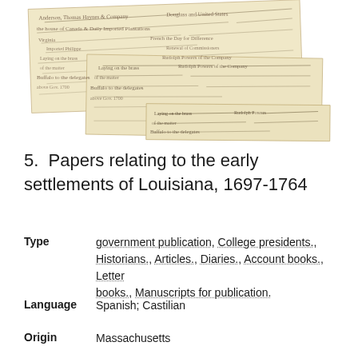[Figure (photo): Three overlapping yellowed manuscript pages with handwritten cursive text in old script, arranged in a cascading/stacked layout]
5.  Papers relating to the early settlements of Louisiana, 1697-1764
Type   government publication, College presidents., Historians., Articles., Diaries., Account books., Letter books., Manuscripts for publication.
Language   Spanish; Castilian
Origin   Massachusetts